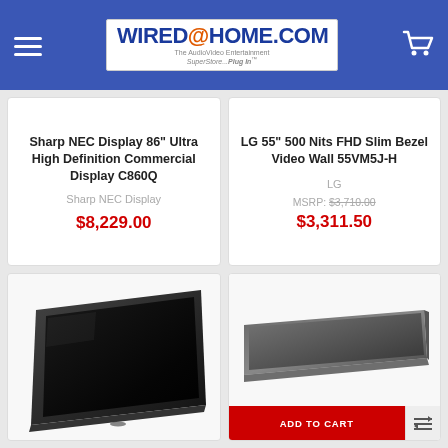WIRED@HOME.COM — The AudioVideo Entertainment SuperStore...Plug In
Sharp NEC Display 86" Ultra High Definition Commercial Display C860Q
Sharp NEC Display
$8,229.00
LG 55" 500 Nits FHD Slim Bezel Video Wall 55VM5J-H
LG
MSRP: $3,710.00
$3,311.50
[Figure (photo): Sharp NEC commercial display monitor shown at an angle, large black rectangular screen]
[Figure (photo): LG slim bezel video wall display panel, shown as a thin wide horizontal panel]